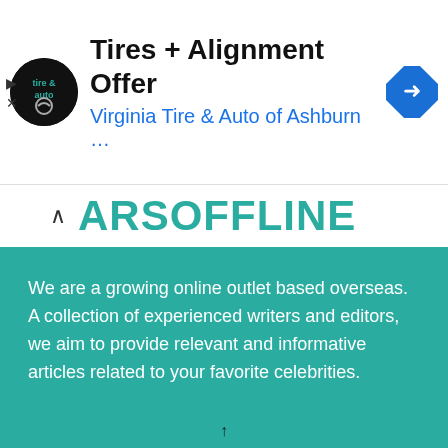[Figure (other): Advertisement banner for Virginia Tire & Auto of Ashburn showing logo, title 'Tires + Alignment Offer', subtitle 'Virginia Tire & Auto of Ashburn ...', and navigation icon]
STARSOFFLINE
We are a growing online outlet based overseas. A collection of experienced writers and editors, we aim to provide relevant and informative articles related to your favorite celebrities.
ABOUT STARSOFFLINE
About Us
Privacy Policy
Contact